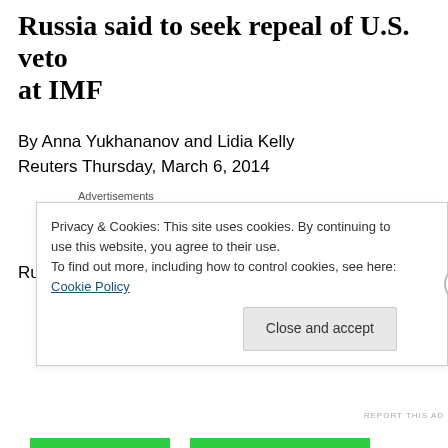Russia said to seek repeal of U.S. veto at IMF
By Anna Yukhananov and Lidia Kelly
Reuters Thursday, March 6, 2014
[Figure (other): Automattic advertisement: 'Build a better web and a better world.']
Russian officials are pushing for the International
Privacy & Cookies: This site uses cookies. By continuing to use this website, you agree to their use.
To find out more, including how to control cookies, see here: Cookie Policy
[Close and accept]